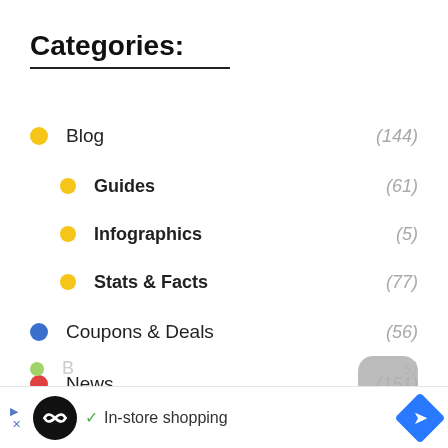Categories:
Blog (144)
Guides (61)
Infographics (5)
Stats & Facts (77)
Coupons & Deals (56)
News (151)
Reviews (81)
In-store shopping